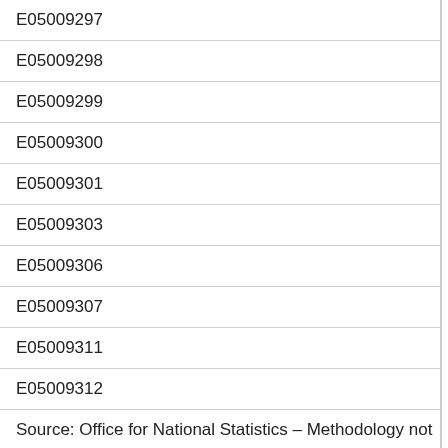| Code |
| --- |
| E05009297 |
| E05009298 |
| E05009299 |
| E05009300 |
| E05009301 |
| E05009303 |
| E05009306 |
| E05009307 |
| E05009311 |
| E05009312 |
Source: Office for National Statistics – Methodology not